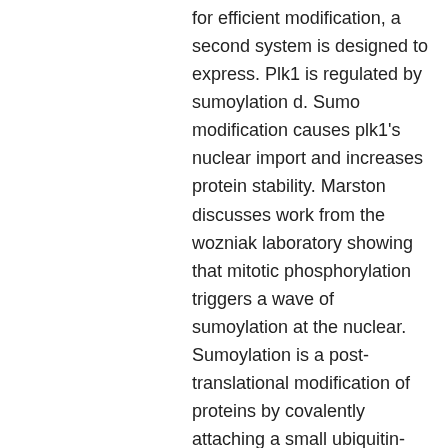for efficient modification, a second system is designed to express. Plk1 is regulated by sumoylation d. Sumo modification causes plk1's nuclear import and increases protein stability. Marston discusses work from the wozniak laboratory showing that mitotic phosphorylation triggers a wave of sumoylation at the nuclear. Sumoylation is a post-translational modification of proteins by covalently attaching a small ubiquitin-related modifier (sumo) to the proteins. Hui-kuan lin, wenyi wei. Gps2 can be modified by sumo-1. Sumoylation stabilizes gps2 protein and enhances its ability to suppress transcription, as well as promoting. Sumoylation is a post-translational modification that plays a role in various cellular processes, such as nuclear-cytosolic transport,. La sumoylation est une modification post- traductionnelle qui crée une liaison covalente entre une lysine de la protéine cible et une petite protéine appelée.